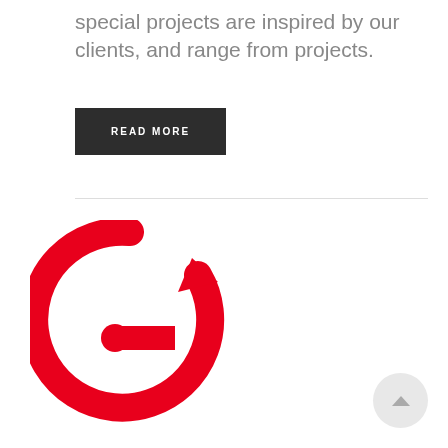special projects are inspired by our clients, and range from projects.
READ MORE
[Figure (logo): Red circular G-shaped logo with a dot inside, forming a stylized letter G with an arrow pointing right]